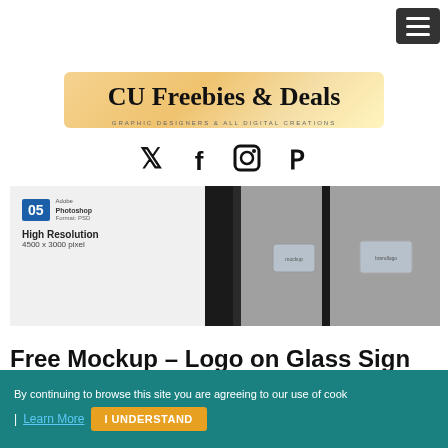[Figure (logo): CU Freebies & Deals website logo with orange brush stroke background and social media icons (Twitter, Facebook, Instagram, Pinterest)]
[Figure (photo): Product mockup showing logo on glass sign — left panel shows Photoshop format badge and High Resolution 4500x3000 pixel spec; right panel shows photo of glass signs mounted on wall]
Free Mockup – Logo on Glass Sign
I love finding these types of free mockups, cuz they are so useful! Checkout the Free Glass Sign Logo Mockups ...
By continuing to browse this site you are agreeing to our use of cook
| Learn More   I UNDERSTAND